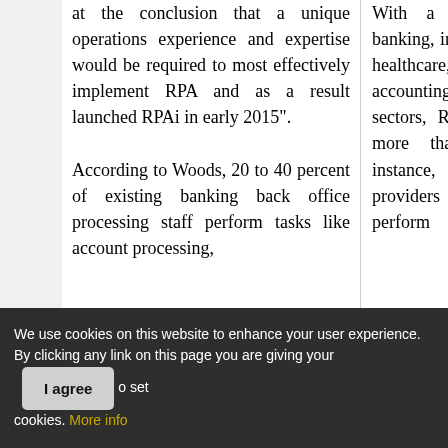at the conclusion that a unique operations experience and expertise would be required to most effectively implement RPA and as a result launched RPAi in early 2015".
According to Woods, 20 to 40 percent of existing banking back office processing staff perform tasks like account processing,
With a diverse clientele across banking, insurance, financial services, healthcare, legal, finance and accounting, and shared service sectors, RPAi is helping to deploy more than 1000 Robots. “For instance, we assist healthcare providers by having software robots perform
We use cookies on this website to enhance your user experience. By clicking any link on this page you are giving your consent for us to set cookies. More info